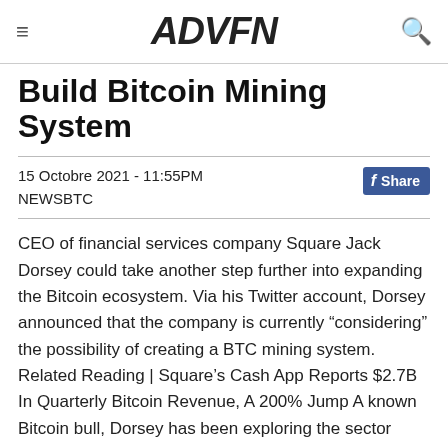ADVFN
Build Bitcoin Mining System
15 Octobre 2021 - 11:55PM
NEWSBTC
CEO of financial services company Square Jack Dorsey could take another step further into expanding the Bitcoin ecosystem. Via his Twitter account, Dorsey announced that the company is currently “considering” the possibility of creating a BTC mining system. Related Reading | Square’s Cash App Reports $2.7B In Quarterly Bitcoin Revenue, A 200% Jump A known Bitcoin bull, Dorsey has been exploring the sector throughout 2021 with important partnerships created with Ark’s Cathie Wood. As NewsBTC reported, the partners proposed an alternative driven